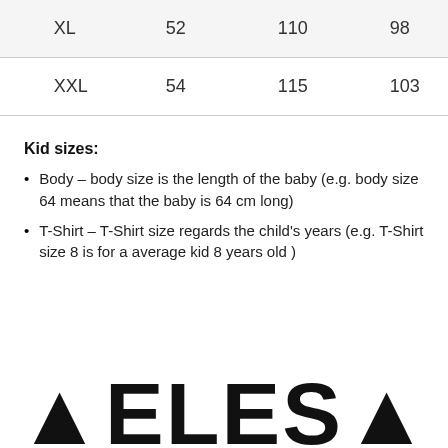| XL | 52 | 110 | 98 | 114 |
| XXL | 54 | 115 | 103 | 119 |
Kid sizes:
Body – body size is the length of the baby (e.g. body size 64 means that the baby is 64 cm long)
T-Shirt – T-Shirt size regards the child's years (e.g. T-Shirt size 8 is for a average kid 8 years old )
[Figure (logo): ELES star logo in large bold black text at the bottom of the page]